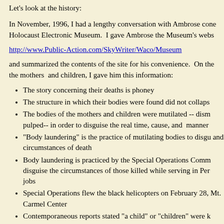Let's look at the history:
In November, 1996, I had a lengthy conversation with Ambrose concerning the Holocaust Electronic Museum.  I gave Ambrose the Museum's webs...
http://www.Public-Action.com/SkyWriter/Waco/Museum
and summarized the contents of the site for his convenience.  On the... the mothers  and children, I gave him this information:
The story concerning their deaths is phoney
The structure in which their bodies were found did not collaps...
The bodies of the mothers and children were mutilated -- dism... pulped-- in order to disguise the real time, cause, and  manner...
"Body laundering" is the practice of mutilating bodies to disgu... and circumstances of death
Body laundering is practiced by the Special Operations Comm... disguise the circumstances of those killed while serving in Per... jobs
Special Operations flew the black helicopters on February 28,... Mt. Carmel Center
Contemporaneous reports stated "a child" or "children" were k...
The state of decomposition of the corpses provides clear evide... different times
The state of decomposition provides clear evidence that at leas... the April 19, 1993 ...